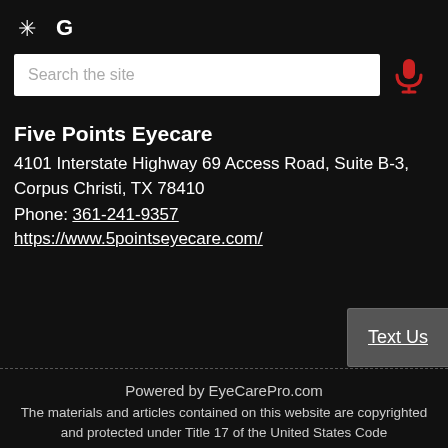[Figure (logo): Yelp star icon (white) and Google 'G' letter icon (white) on dark background]
[Figure (screenshot): Search bar with placeholder text 'Search the site' and a red microphone icon to the right]
Five Points Eyecare
4101 Interstate Highway 69 Access Road, Suite B-3,
Corpus Christi, TX 78410
Phone: 361-241-9357
https://www.5pointseyecare.com/
[Figure (other): Text Us button — gray rounded rectangle with underlined 'Text Us' label]
Powered by EyeCarePro.com
The materials and articles contained on this website are copyrighted and protected under Title 17 of the United States Code
Sitemap | Email Accessibility | Website Accessibility Policy | Login